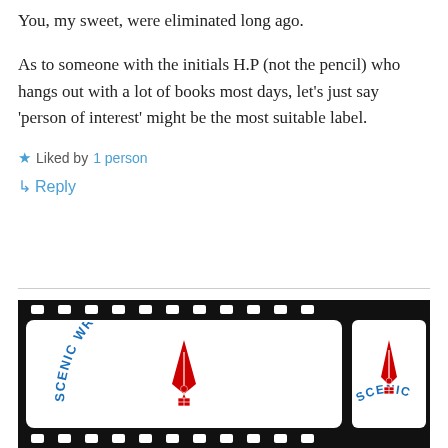You, my sweet, were eliminated long ago.
As to someone with the initials H.P (not the pencil) who hangs out with a lot of books most days, let's just say 'person of interest' might be the most suitable label.
Liked by 1 person
↳ Reply
[Figure (logo): Scenic Writer's Shack logo on film strip — red fountain pen nib with text 'SCENIC WRITER'S SHACK' in blue arc on white film frames with black sprocket holes]